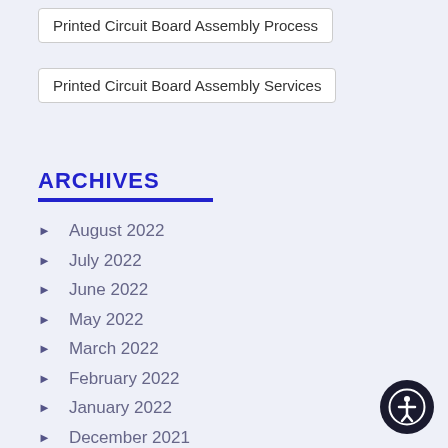Printed Circuit Board Assembly Process
Printed Circuit Board Assembly Services
ARCHIVES
August 2022
July 2022
June 2022
May 2022
March 2022
February 2022
January 2022
December 2021
November 2021